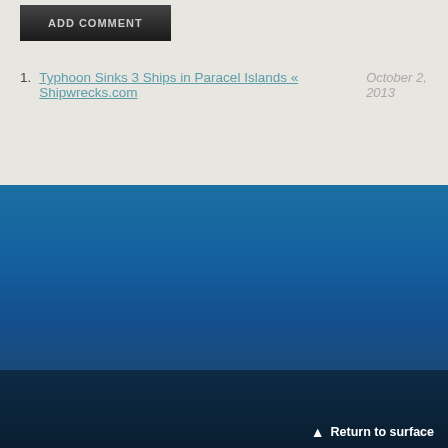[Figure (other): ADD COMMENT button, dark gradient background with grey uppercase text]
1. Typhoon Sinks 3 Ships in Paracel Islands « Shipwrecks.com  October 2, 2013
[Figure (other): Blue gradient footer section transitioning from bright blue to dark navy]
Return to surface